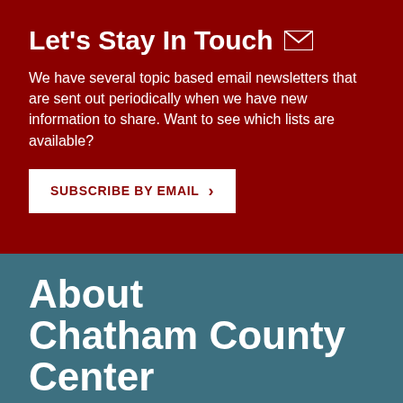Let's Stay In Touch
We have several topic based email newsletters that are sent out periodically when we have new information to share. Want to see which lists are available?
SUBSCRIBE BY EMAIL >
About Chatham County Center
STREET ADDRESS: